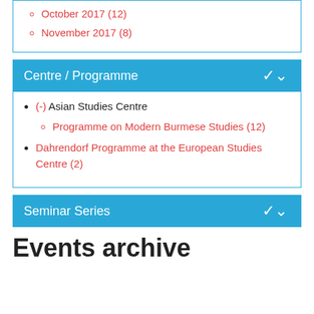October 2017 (12)
November 2017 (8)
Centre / Programme
(-) Asian Studies Centre
Programme on Modern Burmese Studies (12)
Dahrendorf Programme at the European Studies Centre (2)
Seminar Series
Events archive